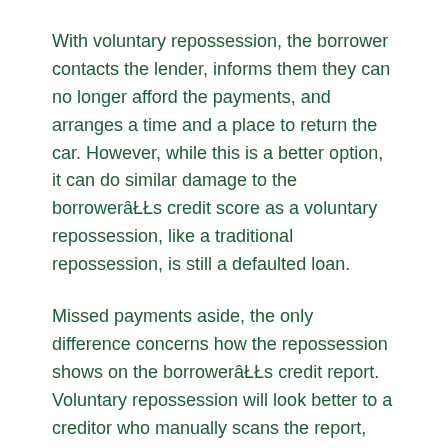With voluntary repossession, the borrower contacts the lender, informs them they can no longer afford the payments, and arranges a time and a place to return the car. However, while this is a better option, it can do similar damage to the borrowerâŁŁs credit score as a voluntary repossession, like a traditional repossession, is still a defaulted loan.
Missed payments aside, the only difference concerns how the repossession shows on the borrowerâŁŁs credit report. Voluntary repossession will look better to a creditor who manually scans the report, but the majority of lenders run automatic checks and wonâŁŁt notice a difference.
Summary: Act Quickly
If you have student loan, credit card, and other unsecured